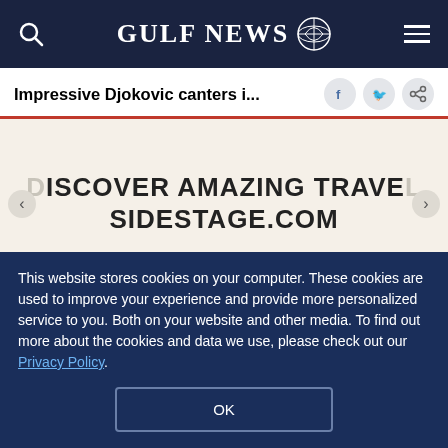GULF NEWS
Impressive Djokovic canters i...
[Figure (screenshot): Advertisement banner: DISCOVER AMAZING TRAVEL SIDESTAGE.COM]
The match looked nothing like the 2017 Roland Garros thriller between the pair, when Djokovic had to fight from two sets down to advance to the
This website stores cookies on your computer. These cookies are used to improve your experience and provide more personalized service to you. Both on your website and other media. To find out more about the cookies and data we use, please check out our Privacy Policy.